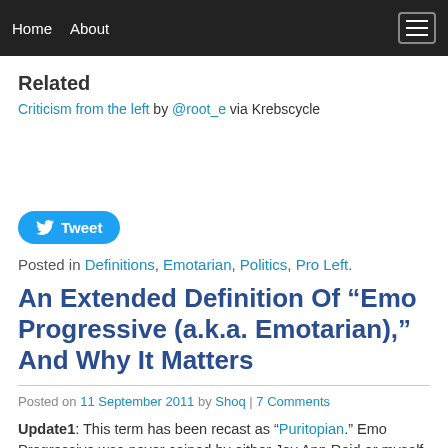Home  About
Related
Criticism from the left by @root_e via Krebscycle
[Figure (other): Tweet button]
Posted in Definitions, Emotarian, Politics, Pro Left.
An Extended Definition Of “Emo Progressive (a.k.a. Emotarian),” And Why It Matters
Posted on 11 September 2011 by Shoq | 7 Comments
Update1:  This term has been recast as “Puritopian.”  Emo Progressive was never coined by either Joy Ann Reid or myself. It had already gotten traction before we came together